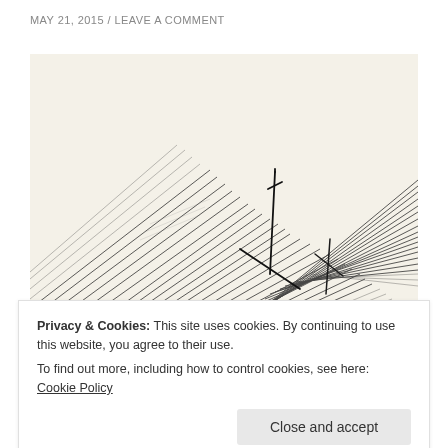MAY 21, 2015 / LEAVE A COMMENT
[Figure (illustration): A charcoal or ink sketch showing diagonal hatching lines with dark gestural marks suggesting architectural or abstract forms on a cream/off-white background.]
Privacy & Cookies: This site uses cookies. By continuing to use this website, you agree to their use.
To find out more, including how to control cookies, see here: Cookie Policy
Close and accept